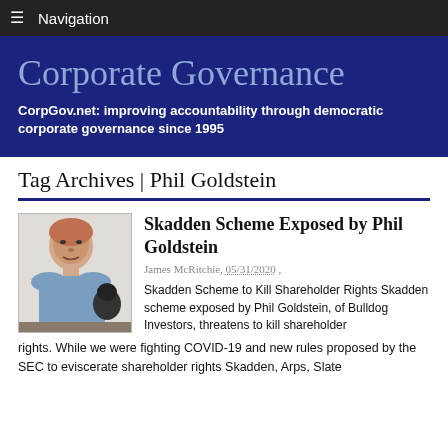Navigation
[Figure (logo): Corporate Governance banner with title and tagline on dark blue background]
Tag Archives | Phil Goldstein
[Figure (photo): Photo of a man in a blue shirt sitting at a desk]
Skadden Scheme Exposed by Phil Goldstein
James McRitchie, 05/31/2020 ,
Skadden Scheme to Kill Shareholder Rights Skadden scheme exposed by Phil Goldstein, of Bulldog Investors, threatens to kill shareholder rights. While we were fighting COVID-19 and new rules proposed by the SEC to eviscerate shareholder rights Skadden, Arps, Slate